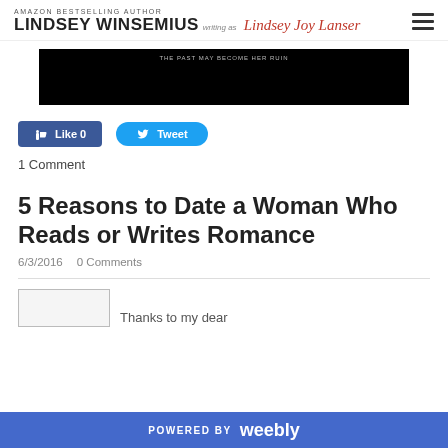AMAZON BESTSELLING AUTHOR LINDSEY WINSEMIUS writing as Lindsey Joy Lanser
[Figure (photo): Black banner image with small white text reading 'THE PAST MAY BECOME HER RUIN']
[Figure (infographic): Facebook Like button showing Like 0 and Twitter Tweet button]
1 Comment
5 Reasons to Date a Woman Who Reads or Writes Romance
6/3/2016   0 Comments
Thanks to my dear
POWERED BY weebly